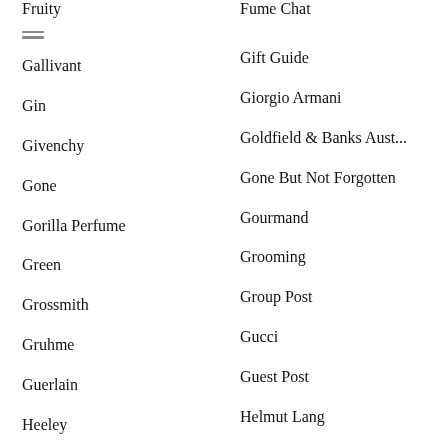Fruity
Fume Chat
Gallivant
Gift Guide
Gin
Giorgio Armani
Givenchy
Goldfield & Banks Aust...
Gone
Gone But Not Forgotten
Gorilla Perfume
Gourmand
Green
Grooming
Grossmith
Group Post
Gruhme
Gucci
Guerlain
Guest Post
Heeley
Helmut Lang
Hermés
Hiram Green
Histoires de Parfums
Home Fragrance